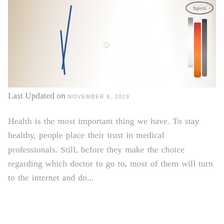[Figure (photo): Close-up photo of a doctor in a white coat with a blue stethoscope draped over the chest and a breast pocket containing pens including an orange pen, a white pen, and a dark pen. A stethoscope head with 'Spirit' branding is visible at the top right.]
Last Updated on NOVEMBER 8, 2019
Health is the most important thing we have. To stay healthy, people place their trust in medical professionals. Still, before they make the choice regarding which doctor to go to, most of them will turn to the internet and do...